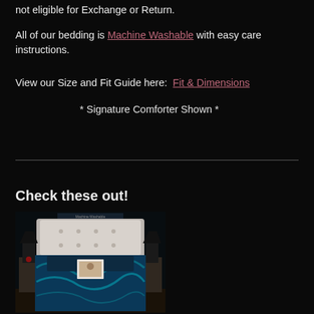not eligible for Exchange or Return.
All of our bedding is Machine Washable with easy care instructions.
View our Size and Fit Guide here:  Fit & Dimensions
* Signature Comforter Shown *
Check these out!
[Figure (photo): A bedroom scene showing a bed with a blue/teal decorative comforter, white tufted headboard, black lamps on nightstands, and decorative pillows. A small framed picture is visible on the bed.]